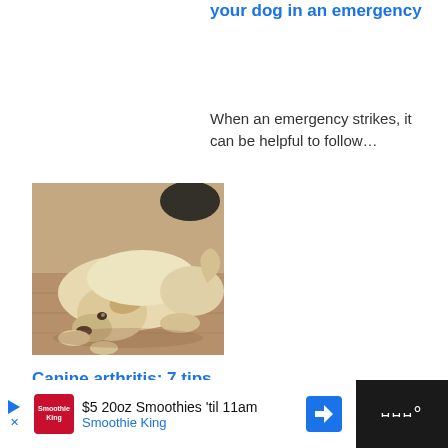your dog in an emergency
When an emergency strikes, it can be helpful to follow…
[Figure (photo): A pale yellow Labrador dog lying flat on a wooden floor, appearing lethargic or resting, photographed from above.]
Canine arthritis: 7 tips to keep your
$5 20oz Smoothies 'til 11am Smoothie King